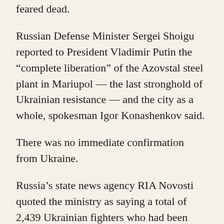feared dead.
Russian Defense Minister Sergei Shoigu reported to President Vladimir Putin the “complete liberation” of the Azovstal steel plant in Mariupol — the last stronghold of Ukrainian resistance — and the city as a whole, spokesman Igor Konashenkov said.
There was no immediate confirmation from Ukraine.
Russia’s state news agency RIA Novosti quoted the ministry as saying a total of 2,439 Ukrainian fighters who had been holed up at the steelworks had surrendered since Monday, including over 500 on Friday.
As they surrendered, the troops were taken prisoner by the Russians, and at least some were